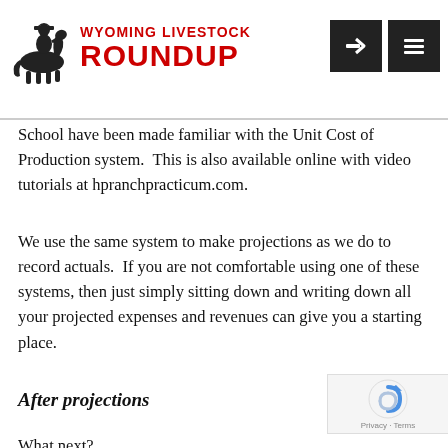Wyoming Livestock Roundup
School have been made familiar with the Unit Cost of Production system.  This is also available online with video tutorials at hpranchpracticum.com.
We use the same system to make projections as we do to record actuals.  If you are not comfortable using one of these systems, then just simply sitting down and writing down all your projected expenses and revenues can give you a starting place.
After projections
What next?
Once you have your profit projections prepared for